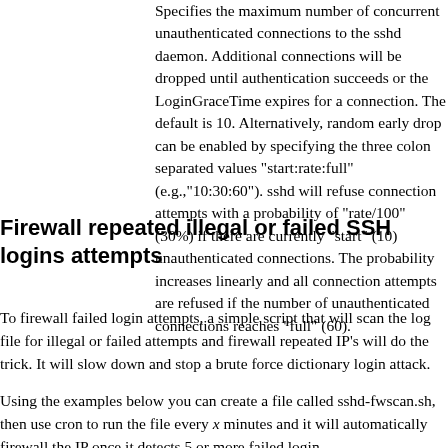Specifies the maximum number of concurrent unauthenticated connections to the sshd daemon. Additional connections will be dropped until authentication succeeds or the LoginGraceTime expires for a connection. The default is 10. Alternatively, random early drop can be enabled by specifying the three colon separated values "start:rate:full" (e.g.,"10:30:60"). sshd will refuse connection attempts with a probability of "rate/100" (30%) if there are currently "start" (10) unauthenticated connections. The probability increases linearly and all connection attempts are refused if the number of unauthenticated connections reaches "full" (60).
Firewall repeated illegal or failed SSH logins attempts
To firewall failed login attempts, a simple script that will scan the log file for illegal or failed attempts and firewall repeated IP's will do the trick. It will slow down and stop a brute force dictionary login attack.
Using the examples below you can create a file called sshd-fwscan.sh, then use cron to run the file every x minutes and it will automatically firewall the IP once it detects 5 or more failed login